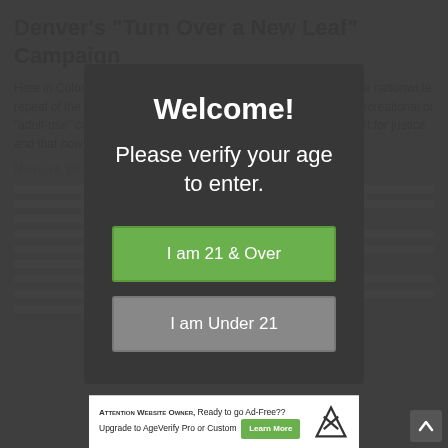Denver's "Turn Over a New Leaf" Campaign
Here in Colorado, we're at the cutting edge of what will likely be the nationwide repeal of the prohibition of cannabis. As the first state to legalize recreational or "adult-use" cannabis, it's easy for us to feel that we've won the fight for justice and that now it's time for other states [...]
March 14, 2019...
Welcome!
Please verify your age to enter.
I am 21 & Over
I am Under 21
Attention Website Owner, Ready to go Ad-Free?? Upgrade to AgeVerify Pro or Custom   Learn More